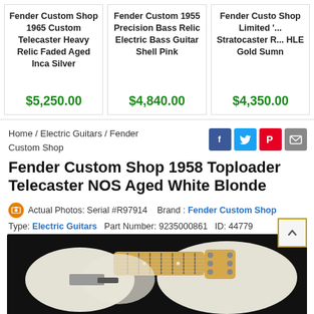[Figure (screenshot): Product card: Fender Custom Shop 1965 Custom Telecaster Heavy Relic Faded Aged Inca Silver, price $5,250.00]
[Figure (screenshot): Product card: Fender Custom 1955 Precision Bass Relic Electric Bass Guitar Shell Pink, price $4,840.00]
[Figure (screenshot): Product card: Fender Custom Shop Limited Stratocaster R... HLE Gold Summ..., price $4,350.00]
Home / Electric Guitars / Fender Custom Shop
Fender Custom Shop 1958 Toploader Telecaster NOS Aged White Blonde
Actual Photos: Serial #R97914   Brand : Fender Custom Shop
Type: Electric Guitars   Part Number: 9235000861   ID: 44779
[Figure (photo): Photo of a Fender Custom Shop 1958 Toploader Telecaster NOS Aged White Blonde electric guitar against a black background]